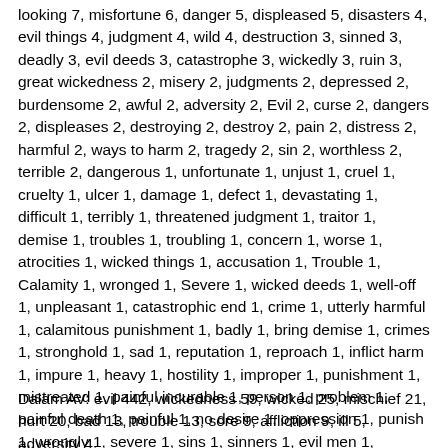looking 7, misfortune 6, danger 5, displeased 5, disasters 4, evil things 4, judgment 4, wild 4, destruction 3, sinned 3, deadly 3, evil deeds 3, catastrophe 3, wickedly 3, ruin 3, great wickedness 2, misery 2, judgments 2, depressed 2, burdensome 2, awful 2, adversity 2, Evil 2, curse 2, dangers 2, displeases 2, destroying 2, destroy 2, pain 2, distress 2, harmful 2, ways to harm 2, tragedy 2, sin 2, worthless 2, terrible 2, dangerous 1, unfortunate 1, unjust 1, cruel 1, cruelty 1, ulcer 1, damage 1, defect 1, devastating 1, difficult 1, terribly 1, threatened judgment 1, traitor 1, demise 1, troubles 1, troubling 1, concern 1, worse 1, atrocities 1, wicked things 1, accusation 1, Trouble 1, Calamity 1, wronged 1, Severe 1, wicked deeds 1, well-off 1, unpleasant 1, catastrophic end 1, crime 1, utterly harmful 1, calamitous punishment 1, badly 1, bring demise 1, crimes 1, stronghold 1, sad 1, reputation 1, reproach 1, inflict harm 1, impure 1, heavy 1, hostility 1, improper 1, punishment 1, mistreated 1, painful incurable 1, person 1, problem 1, painful death 1, painful 1, no desire 1, oppression 1, punish 1, wrongly 1, severe 1, sins 1, sinners 1, evil men 1, dreadful 1, does not please 1, prostitutes 1, displeasing 1, stingy person 1, evil people 1, evil person 1, fault 1, grave 1, hard 1, fact 1, evildoing 1, evil schemes 1, sinful practices 1, evildoers 1, surely 1
Dalam AV: evil 442, wickedness 59, wicked 25, mischief 21, hurt 20, bad 13, trouble 13, sore 9, affliction 9, ill 5, adversity 4, ...